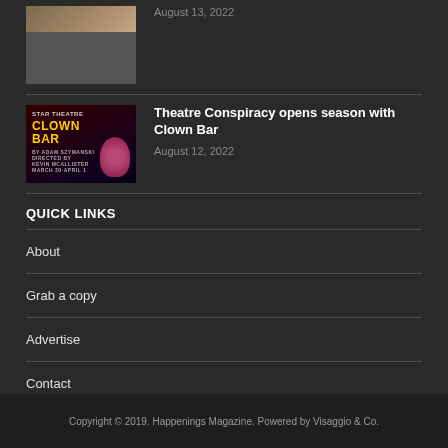[Figure (photo): Partial thumbnail of an article image showing a brown/tan animal or person, cropped at top]
August 13, 2022
[Figure (photo): Thumbnail image for Theatre Conspiracy Clown Bar article, dark background with colorful clown character and text CLOWN BAR]
Theatre Conspiracy opens season with Clown Bar
August 12, 2022
QUICK LINKS
About
Grab a copy
Advertise
Contact
Copyright © 2019. Happenings Magazine. Powered by Visaggio & Co.